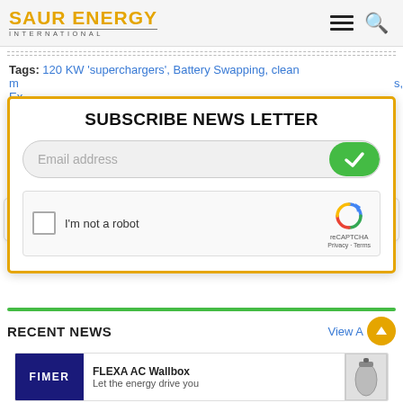SAUR ENERGY INTERNATIONAL
Tags: 120 KW 'superchargers', Battery Swapping, clean m[obiliy]..., [EV]...
[Figure (screenshot): Subscribe newsletter modal with orange border, email address input, green checkmark submit button, reCAPTCHA I'm not a robot checkbox]
"[W]... ews to sh... m
RECENT NEWS
View A[ll]
[Figure (screenshot): FIMER FLEXA AC Wallbox - Let the energy drive you advertisement card]